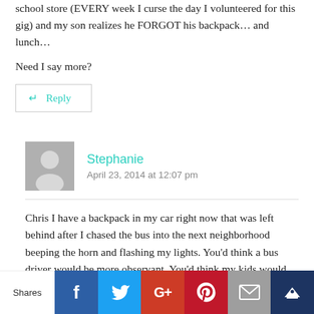school store (EVERY week I curse the day I volunteered for this gig) and my son realizes he FORGOT his backpack… and lunch…
Need I say more?
↵ Reply
Stephanie
April 23, 2014 at 12:07 pm
Chris I have a backpack in my car right now that was left behind after I chased the bus into the next neighborhood beeping the horn and flashing my lights. You'd think a bus driver would be more observant. You'd think my kids would remember the important stuff!
Shares | Facebook | Twitter | Google+ | Pinterest | Email | Crown